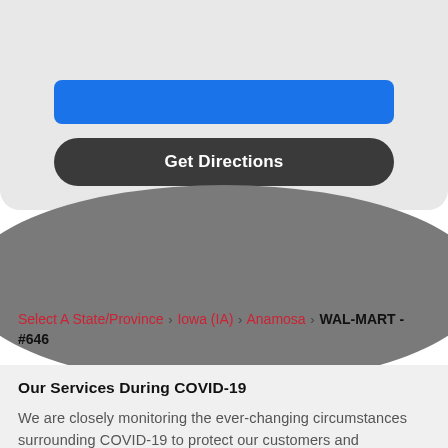[Figure (screenshot): Blue bar button at top of card]
Get Directions
Select A State/Province > Iowa (IA) > Anamosa > WAL-MART - #646
Our Services During COVID-19
We are closely monitoring the ever-changing circumstances surrounding COVID-19 to protect our customers and employees. If you are using our services during the time, please remember to: